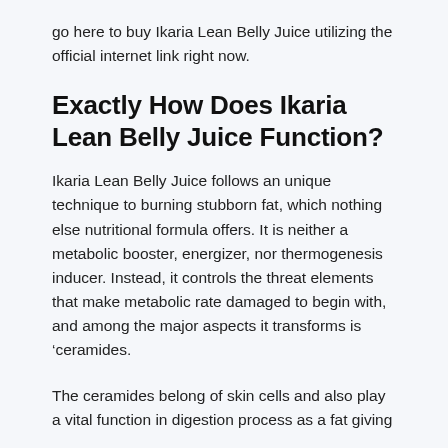go here to buy Ikaria Lean Belly Juice utilizing the official internet link right now.
Exactly How Does Ikaria Lean Belly Juice Function?
Ikaria Lean Belly Juice follows an unique technique to burning stubborn fat, which nothing else nutritional formula offers. It is neither a metabolic booster, energizer, nor thermogenesis inducer. Instead, it controls the threat elements that make metabolic rate damaged to begin with, and among the major aspects it transforms is ‘ceramides.
The ceramides belong of skin cells and also play a vital function in digestion process as a fat giving...